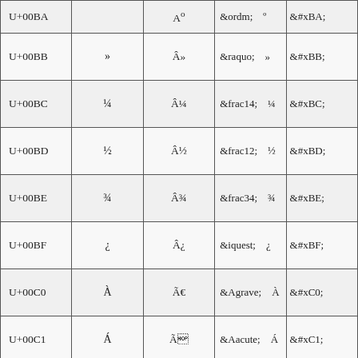| Code | Char | UTF-8 | HTML Entity | Hex |
| --- | --- | --- | --- | --- |
| U+00BA |  | Aº | &ordm;    º | &#xBA; |
| U+00BB | » | Â» | &raquo;    » | &#xBB; |
| U+00BC | ¼ | Â¼ | &frac14;    ¼ | &#xBC; |
| U+00BD | ½ | Â½ | &frac12;    ½ | &#xBD; |
| U+00BE | ¾ | Â¾ | &frac34;    ¾ | &#xBE; |
| U+00BF | ¿ | Â¿ | &iquest;    ¿ | &#xBF; |
| U+00C0 | À | Ã | &Agrave;    À | &#xC0; |
| U+00C1 | Á | Ã | &Aacute;    Á | &#xC1; |